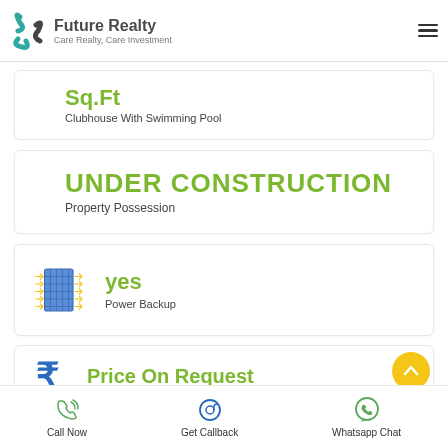Future Realty — Care Realty, Care Investment
Sq.Ft
Clubhouse With Swimming Pool
UNDER CONSTRUCTION
Property Possession
yes
Power Backup
Price On Request
Call Now   Get Callback   Whatsapp Chat